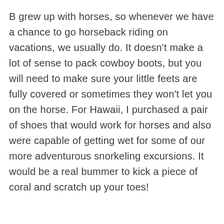B grew up with horses, so whenever we have a chance to go horseback riding on vacations, we usually do. It doesn't make a lot of sense to pack cowboy boots, but you will need to make sure your little feets are fully covered or sometimes they won't let you on the horse. For Hawaii, I purchased a pair of shoes that would work for horses and also were capable of getting wet for some of our more adventurous snorkeling excursions. It would be a real bummer to kick a piece of coral and scratch up your toes!